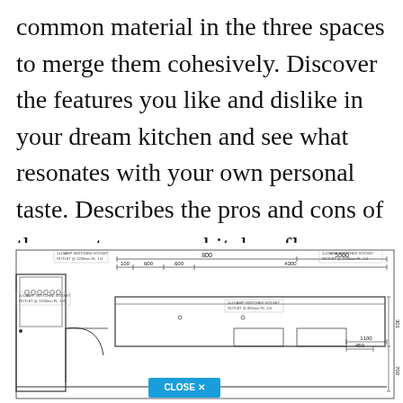common material in the three spaces to merge them cohesively. Discover the features you like and dislike in your dream kitchen and see what resonates with your own personal taste. Describes the pros and cons of the most common kitchen floor plans and gives design tips for each kitchen style.
[Figure (engineering-diagram): Kitchen floor plan engineering/architectural drawing with dimensions labeled. Shows measurements including 800, 5500, 100, 600, 600, 4300, 1100, 450, 700, 301. Contains labels for switched sockets/outlets at various heights. Shows kitchen layout with cabinets, appliances, and a curved door swing arc on the left side. A 'CLOSE X' button overlay is visible at bottom center.]